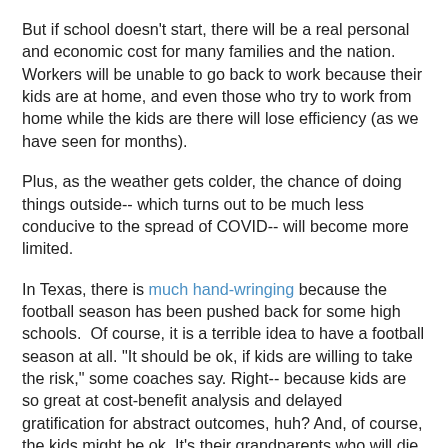But if school doesn't start, there will be a real personal and economic cost for many families and the nation. Workers will be unable to go back to work because their kids are at home, and even those who try to work from home while the kids are there will lose efficiency (as we have seen for months).
Plus, as the weather gets colder, the chance of doing things outside-- which turns out to be much less conducive to the spread of COVID-- will become more limited.
In Texas, there is much hand-wringing because the football season has been pushed back for some high schools.  Of course, it is a terrible idea to have a football season at all. "It should be ok, if kids are willing to take the risk," some coaches say. Right-- because kids are so great at cost-benefit analysis and delayed gratification for abstract outcomes, huh? And, of course, the kids might be ok. It's their grandparents who will die.
Many of us hoped this would be over by now. We are having to face the cruel reality that it just is not done. I hope we do, in fact, face that reality...